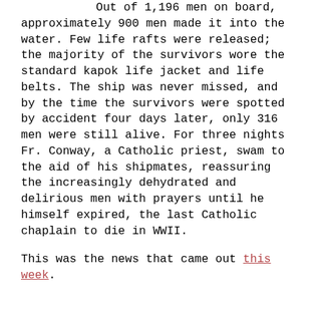Out of 1,196 men on board, approximately 900 men made it into the water. Few life rafts were released; the majority of the survivors wore the standard kapok life jacket and life belts. The ship was never missed, and by the time the survivors were spotted by accident four days later, only 316 men were still alive. For three nights Fr. Conway, a Catholic priest, swam to the aid of his shipmates, reassuring the increasingly dehydrated and delirious men with prayers until he himself expired, the last Catholic chaplain to die in WWII.
This was the news that came out this week.